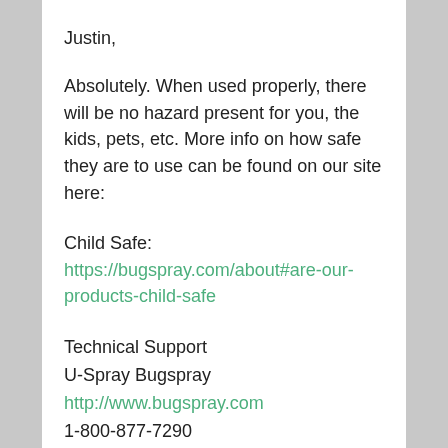Justin,
Absolutely. When used properly, there will be no hazard present for you, the kids, pets, etc. More info on how safe they are to use can be found on our site here:
Child Safe: https://bugspray.com/about#are-our-products-child-safe
Technical Support
U-Spray Bugspray
http://www.bugspray.com
1-800-877-7290
PS: Are you signed up for our informative twice a month Pest Report Newsletter? More info here:
http://bugspray.com/bugspray_pest_report.ht